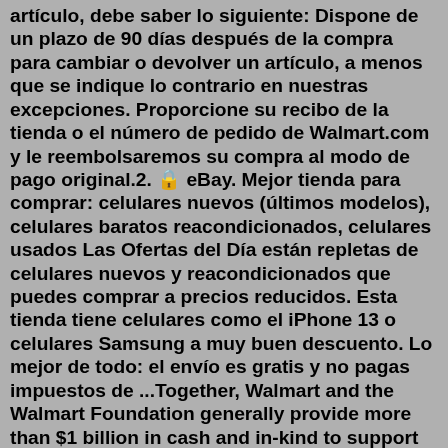artículo, debe saber lo siguiente: Dispone de un plazo de 90 días después de la compra para cambiar o devolver un artículo, a menos que se indique lo contrario en nuestras excepciones. Proporcione su recibo de la tienda o el número de pedido de Walmart.com y le reembolsaremos su compra al modo de pago original.2. 🔒 eBay. Mejor tienda para comprar: celulares nuevos (últimos modelos), celulares baratos reacondicionados, celulares usados Las Ofertas del Día están repletas de celulares nuevos y reacondicionados que puedes comprar a precios reducidos. Esta tienda tiene celulares como el iPhone 13 o celulares Samsung a muy buen descuento. Lo mejor de todo: el envío es gratis y no pagas impuestos de ...Together, Walmart and the Walmart Foundation generally provide more than $1 billion in cash and in-kind to support programs that align with our philanthropic priorities. We focus on areas where we can do the most good - combining the unique strengths of the business alongside our philanthropy. Our ability to draw on Walmart business strengths ...